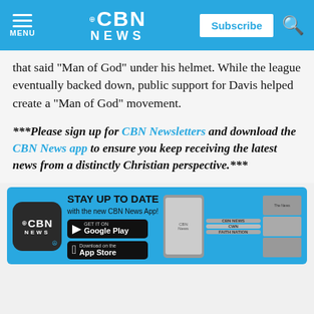CBN NEWS | Subscribe
that said "Man of God" under his helmet. While the league eventually backed down, public support for Davis helped create a "Man of God" movement.
***Please sign up for CBN Newsletters and download the CBN News app to ensure you keep receiving the latest news from a distinctly Christian perspective.***
[Figure (infographic): CBN News app promotional banner with app store download buttons for Google Play and App Store, showing smartphone screenshots of the app.]